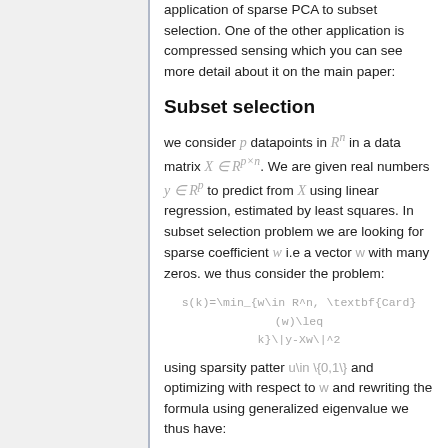application of sparse PCA to subset selection. One of the other application is compressed sensing which you can see more detail about it on the main paper:
Subset selection
we consider p datapoints in R^n in a data matrix X ∈ R^{p×n}. We are given real numbers y ∈ R^p to predict from X using linear regression, estimated by least squares. In subset selection problem we are looking for sparse coefficient w i.e a vector w with many zeros. we thus consider the problem:
using sparsity patter u\in \{0,1\} and optimizing with respect to w and rewriting the formula using generalized eigenvalue we thus have: